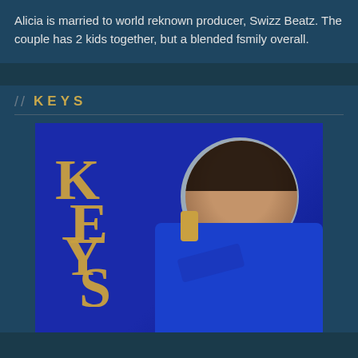Alicia is married to world reknown producer, Swizz Beatz. The couple has 2 kids together, but a blended fsmily overall.
// KEYS
[Figure (photo): Album cover for 'KEYS' by Alicia Keys. Blue background with a woman in a royal blue outfit wearing large gold lock-shaped earrings, posed in front of a circular gray halo. To the left is the interlocking KEYS logo in gold lettering.]